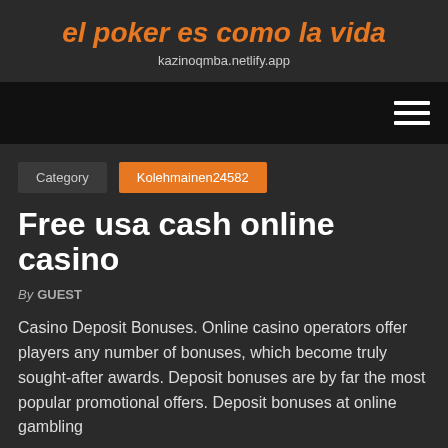el poker es como la vida
kazinoqmba.netlify.app
[Figure (other): Navigation bar with hamburger menu icon (three horizontal white lines) on dark/black background]
Category   Kolehmainen24582
Free usa cash online casino
By GUEST
Casino Deposit Bonuses. Online casino operators offer players any number of bonuses, which become truly sought-after awards. Deposit bonuses are by far the most popular promotional offers. Deposit bonuses at online gambling